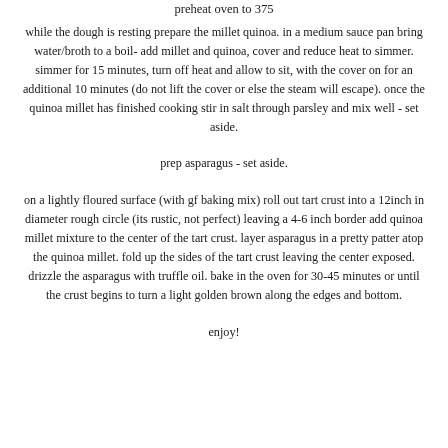preheat oven to 375
while the dough is resting prepare the millet quinoa. in a medium sauce pan bring water/broth to a boil- add millet and quinoa, cover and reduce heat to simmer. simmer for 15 minutes, turn off heat and allow to sit, with the cover on for an additional 10 minutes (do not lift the cover or else the steam will escape). once the quinoa millet has finished cooking stir in salt through parsley and mix well - set aside.
prep asparagus - set aside.
on a lightly floured surface (with gf baking mix) roll out tart crust into a 12inch in diameter rough circle (its rustic, not perfect) leaving a 4-6 inch border add quinoa millet mixture to the center of the tart crust. layer asparagus in a pretty patter atop the quinoa millet. fold up the sides of the tart crust leaving the center exposed. drizzle the asparagus with truffle oil. bake in the oven for 30-45 minutes or until the crust begins to turn a light golden brown along the edges and bottom.
enjoy!